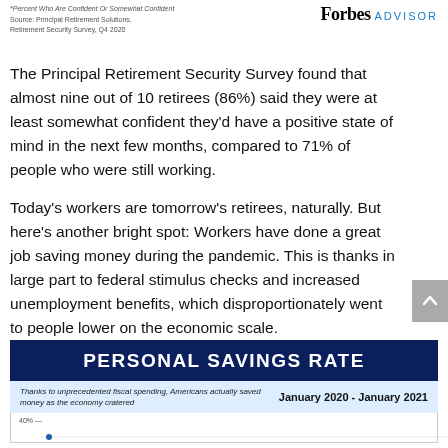*Percent Who Are Confident Or Somewhat Confident
Source: Principal Retirement Solutions, Retirement Security Survey, Q4 2020
[Figure (logo): Forbes ADVISOR logo]
The Principal Retirement Security Survey found that almost nine out of 10 retirees (86%) said they were at least somewhat confident they'd have a positive state of mind in the next few months, compared to 71% of people who were still working.
Today's workers are tomorrow's retirees, naturally. But here's another bright spot: Workers have done a great job saving money during the pandemic. This is thanks in large part to federal stimulus checks and increased unemployment benefits, which disproportionately went to people lower on the economic scale.
PERSONAL SAVINGS RATE
Thanks to unprecedented fiscal spending, Americans actually saved money as the economy cratered
January 2020 - January 2021
[Figure (continuous-plot): Personal savings rate chart showing data from January 2020 to January 2021, with y-axis starting at 40%]